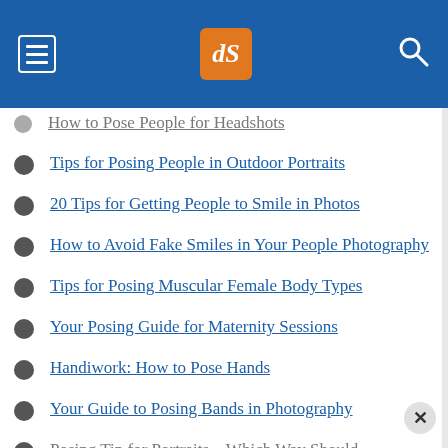[Figure (screenshot): Website header bar in blue with hamburger menu icon on left, dPS logo (orange box with 'dS' initials) in center, and search icon on right]
How to Pose People for Headshots
Tips for Posing People in Outdoor Portraits
20 Tips for Getting People to Smile in Photos
How to Avoid Fake Smiles in Your People Photography
Tips for Posing Muscular Female Body Types
Your Posing Guide for Maternity Sessions
Handiwork: How to Pose Hands
Your Guide to Posing Bands in Photography
Posing Tip for Portraits – Which Way Should